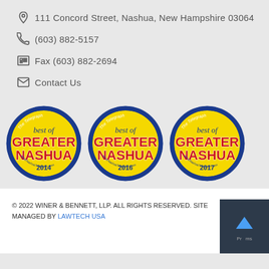111 Concord Street, Nashua, New Hampshire 03064
(603) 882-5157
Fax (603) 882-2694
Contact Us
[Figure (logo): Three circular 'Best of Greater Nashua' award badges from The Telegraph newspaper for years 2014, 2016, and 2017, with blue borders, yellow backgrounds, and red text reading GREATER NASHUA.]
© 2022 WINER & BENNETT, LLP. ALL RIGHTS RESERVED. SITE MANAGED BY LAWTECH USA